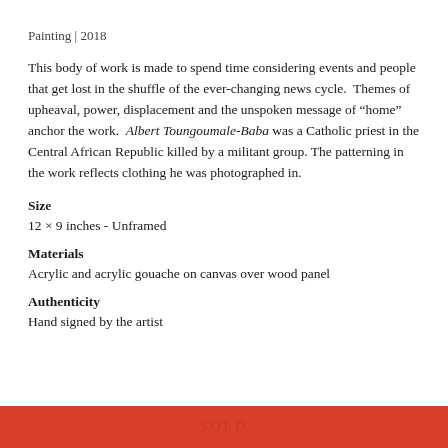Painting | 2018
This body of work is made to spend time considering events and people that get lost in the shuffle of the ever-changing news cycle. Themes of upheaval, power, displacement and the unspoken message of “home” anchor the work. Albert Toungoumale-Baba was a Catholic priest in the Central African Republic killed by a militant group. The patterning in the work reflects clothing he was photographed in.
Size
12 × 9 inches - Unframed
Materials
Acrylic and acrylic gouache on canvas over wood panel
Authenticity
Hand signed by the artist
SOLD